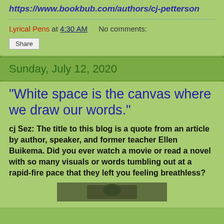https://www.bookbub.com/authors/cj-petterson
Lyrical Pens at 4:30 AM   No comments:
Share
Sunday, July 12, 2020
"White space is the canvas where we draw our words."
cj Sez: The title to this blog is a quote from an article by author, speaker, and former teacher Ellen Buikema. Did you ever watch a movie or read a novel with so many visuals or words tumbling out at a rapid-fire pace that they left you feeling breathless?
[Figure (photo): Partially visible photo at bottom of page]